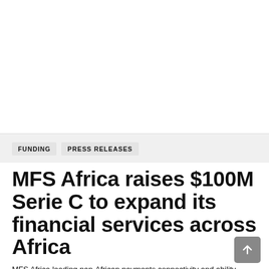[Figure (other): Large white blank area at top of page, likely an image placeholder or hero image area]
FUNDING   PRESS RELEASES
MFS Africa raises $100M Serie C to expand its financial services across Africa
MFS Africa leading pan-African payments connectivity and ability